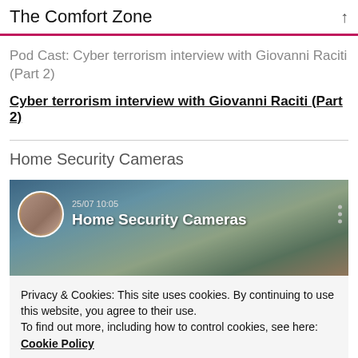The Comfort Zone
Pod Cast: Cyber terrorism interview with Giovanni Raciti (Part 2)
Cyber terrorism interview with Giovanni Raciti (Part 2)
Home Security Cameras
[Figure (screenshot): Video thumbnail showing two men with text 'Home Security Cameras' and a timestamp '25/07 10:05', overlaid on a house/building background]
Privacy & Cookies: This site uses cookies. By continuing to use this website, you agree to their use.
To find out more, including how to control cookies, see here:
Cookie Policy
Close and accept